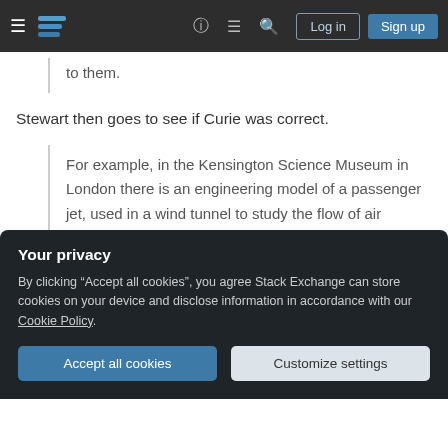Stack Exchange navigation bar with Log in and Sign up buttons
to them.
Stewart then goes to see if Curie was correct.
For example, in the Kensington Science Museum in London there is an engineering model of a passenger jet, used in a wind tunnel to study the flow of air around the aircraft. Since the aircraft is bilaterally symmetric, the engineers built only half of
unstable.
Your privacy
By clicking "Accept all cookies", you agree Stack Exchange can store cookies on your device and disclose information in accordance with our Cookie Policy.
Accept all cookies
Customize settings